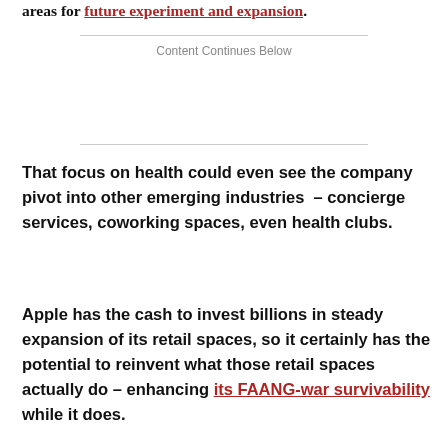areas for future experiment and expansion.
Content Continues Below
That focus on health could even see the company pivot into other emerging industries – concierge services, coworking spaces, even health clubs.
Apple has the cash to invest billions in steady expansion of its retail spaces, so it certainly has the potential to reinvent what those retail spaces actually do – enhancing its FAANG-war survivability while it does.